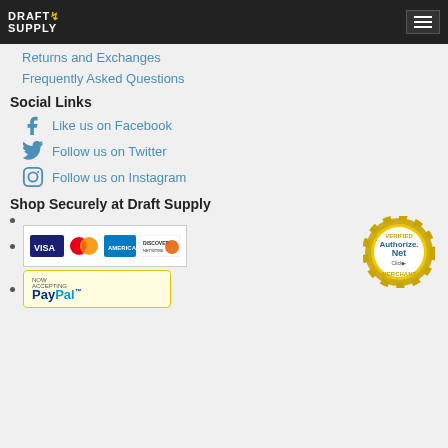Draft Supply
Returns and Exchanges
Frequently Asked Questions
Social Links
Like us on Facebook
Follow us on Twitter
Follow us on Instagram
Shop Securely at Draft Supply
[Figure (other): Payment methods: Visa, MasterCard, American Express, Discover, PayPal, and Authorize.Net Verified Merchant badge]